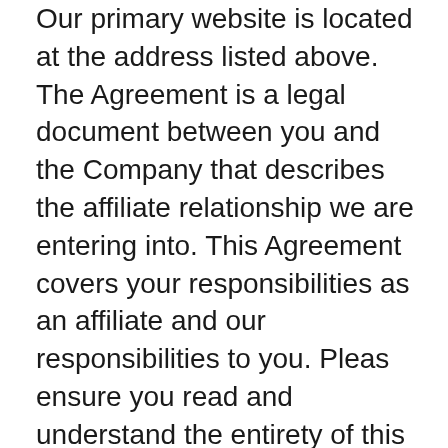Our primary website is located at the address listed above. The Agreement is a legal document between you and the Company that describes the affiliate relationship we are entering into. This Agreement covers your responsibilities as an affiliate and our responsibilities to you. Pleas ensure you read and understand the entirety of this document, as well as have a lawyer's assistance if you desire, because each of the terms of this Agreement are important to our working relationship.
BY SUBMITTING THE ONLINE APPLICATION YOU ARE AGREEING THAT YOU HAVE READ AND UNDERSTAND THE TERMS AND CONDITIONS OF THIS AGREEMENT AND THAT YOU AGREE TO BE LEGALLY RESPONSIBLE